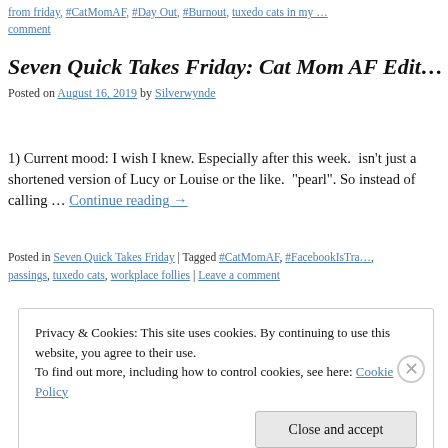from friday, #CatMomAF, #Day Out, #Burnout, tuxedo cats in my ... | Leave a comment
Seven Quick Takes Friday: Cat Mom AF Edit…
Posted on August 16, 2019 by Silverwynde
1) Current mood: I wish I knew. Especially after this week. isn't just a shortened version of Lucy or Louise or the like. "pearl". So instead of calling … Continue reading →
Posted in Seven Quick Takes Friday | Tagged #CatMomAF, #FacebookIsTra…, passings, tuxedo cats, workplace follies | Leave a comment
Privacy & Cookies: This site uses cookies. By continuing to use this website, you agree to their use.
To find out more, including how to control cookies, see here: Cookie Policy
Close and accept